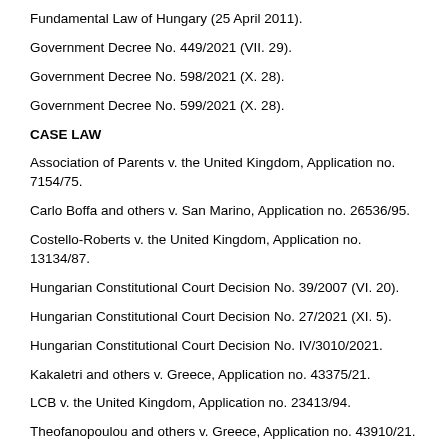Fundamental Law of Hungary (25 April 2011).
Government Decree No. 449/2021 (VII. 29).
Government Decree No. 598/2021 (X. 28).
Government Decree No. 599/2021 (X. 28).
CASE LAW
Association of Parents v. the United Kingdom, Application no. 7154/75.
Carlo Boffa and others v. San Marino, Application no. 26536/95.
Costello-Roberts v. the United Kingdom, Application no. 13134/87.
Hungarian Constitutional Court Decision No. 39/2007 (VI. 20).
Hungarian Constitutional Court Decision No. 27/2021 (XI. 5).
Hungarian Constitutional Court Decision No. IV/3010/2021.
Kakaletri and others v. Greece, Application no. 43375/21.
LCB v. the United Kingdom, Application no. 23413/94.
Theofanopoulou and others v. Greece, Application no. 43910/21.
Vavricka and others v. Czech Republic, Application nos. 47621/13, 3867/14